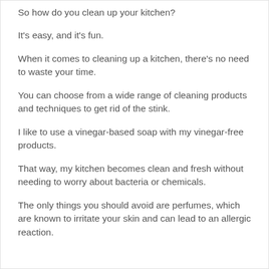So how do you clean up your kitchen?
It's easy, and it's fun.
When it comes to cleaning up a kitchen, there's no need to waste your time.
You can choose from a wide range of cleaning products and techniques to get rid of the stink.
I like to use a vinegar-based soap with my vinegar-free products.
That way, my kitchen becomes clean and fresh without needing to worry about bacteria or chemicals.
The only things you should avoid are perfumes, which are known to irritate your skin and can lead to an allergic reaction.